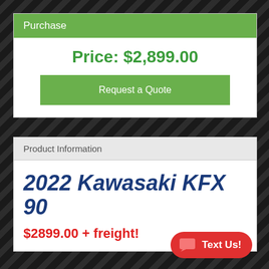Purchase
Price: $2,899.00
Request a Quote
Product Information
2022 Kawasaki KFX 90
$2899.00 + freight!
Text Us!